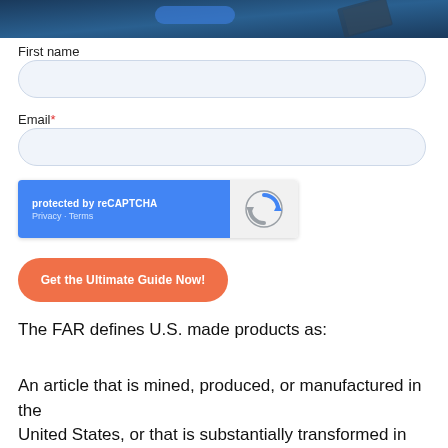[Figure (photo): Hero banner image with dark blue gradient background, partially visible]
First name
[Figure (other): Text input field for First name, rounded rectangle with light blue-gray background]
Email*
[Figure (other): Text input field for Email, rounded rectangle with light blue-gray background]
[Figure (other): reCAPTCHA widget: blue left panel saying 'protected by reCAPTCHA' with Privacy - Terms links, gray right panel with reCAPTCHA logo]
[Figure (other): Orange rounded button labeled 'Get the Ultimate Guide Now!']
The FAR defines U.S. made products as:
An article that is mined, produced, or manufactured in the United States, or that is substantially transformed in the